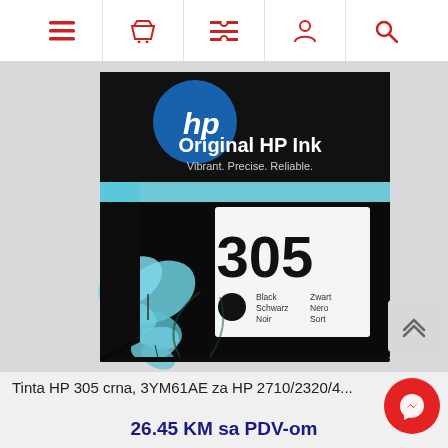Navigation bar with icons: menu, basket, list, account, search
[Figure (photo): HP 305 Black Ink Cartridge product box. Black box with blue butterflies and tropical leaves design. White label showing number 305, a black circle, and multilingual color labels: Black/Schwarz/Noir, Zwart/Nero/Sort. Top of box reads 'Original HP Ink - Vibrant. Precise. Reliable.' with HP logo.]
Tinta HP 305 crna, 3YM61AE za HP 2710/2320/4...
26.45 KM sa PDV-om